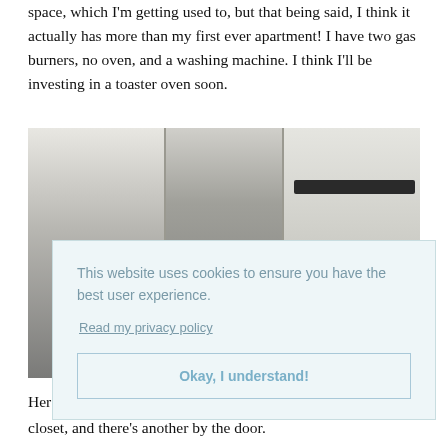space, which I'm getting used to, but that being said, I think it actually has more than my first ever apartment! I have two gas burners, no oven, and a washing machine. I think I'll be investing in a toaster oven soon.
[Figure (photo): Interior kitchen photo showing cabinets, refrigerator, and shelving with items on the right side. A cookie consent overlay partially covers the lower portion of the photo.]
This website uses cookies to ensure you have the best user experience. Read my privacy policy
Okay, I understand!
Her closet, and there's another by the door.